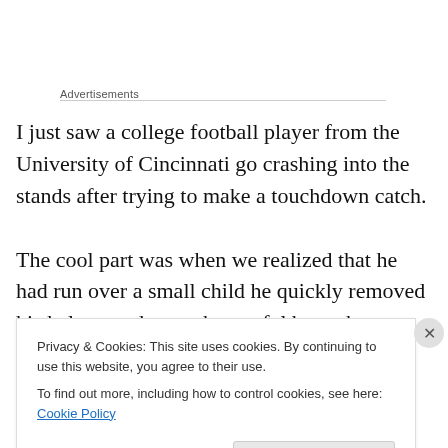Advertisements
I just saw a college football player from the University of Cincinnati go crashing into the stands after trying to make a touchdown catch.
The cool part was when we realized that he had run over a small child he quickly removed his helmet and gave the tearful boy a hug to comfort him.
Privacy & Cookies: This site uses cookies. By continuing to use this website, you agree to their use.
To find out more, including how to control cookies, see here: Cookie Policy
Close and accept